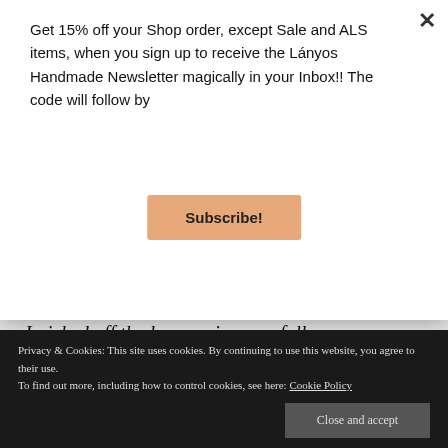Get 15% off your Shop order, except Sale and ALS items, when you sign up to receive the Lányos Handmade Newsletter magically in your Inbox!! The code will follow by
Subscribe!
[Figure (photo): Close-up of blue denim fabric with white text overlay reading 'Nice dress! Thanks, I made it!!']
I picked off the lace casing carefully.
Privacy & Cookies: This site uses cookies. By continuing to use this website, you agree to their use. To find out more, including how to control cookies, see here: Cookie Policy
Close and accept